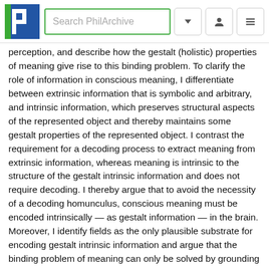Search PhilArchive
perception, and describe how the gestalt (holistic) properties of meaning give rise to this binding problem. To clarify the role of information in conscious meaning, I differentiate between extrinsic information that is symbolic and arbitrary, and intrinsic information, which preserves structural aspects of the represented object and thereby maintains some gestalt properties of the represented object. I contrast the requirement for a decoding process to extract meaning from extrinsic information, whereas meaning is intrinsic to the structure of the gestalt intrinsic information and does not require decoding. I thereby argue that to avoid the necessity of a decoding homunculus, conscious meaning must be encoded intrinsically — as gestalt information — in the brain. Moreover, I identify fields as the only plausible substrate for encoding gestalt intrinsic information and argue that the binding problem of meaning can only be solved by grounding meaning in this field-based gestalt information. I examine possible substrates for gestalt information in the brain and conclude that the only plausible substrate is the CEMI field.